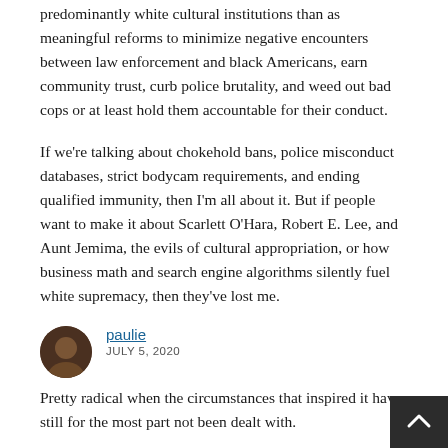predominantly white cultural institutions than as meaningful reforms to minimize negative encounters between law enforcement and black Americans, earn community trust, curb police brutality, and weed out bad cops or at least hold them accountable for their conduct.
If we're talking about chokehold bans, police misconduct databases, strict bodycam requirements, and ending qualified immunity, then I'm all about it. But if people want to make it about Scarlett O'Hara, Robert E. Lee, and Aunt Jemima, the evils of cultural appropriation, or how business math and search engine algorithms silently fuel white supremacy, then they've lost me.
paulie
JULY 5, 2020
Pretty radical when the circumstances that inspired it have still for the most part not been dealt with.
William Saturn